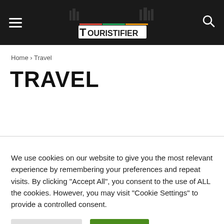Touristifier — site header with hamburger menu, logo, and search icon
Home › Travel
TRAVEL
We use cookies on our website to give you the most relevant experience by remembering your preferences and repeat visits. By clicking "Accept All", you consent to the use of ALL the cookies. However, you may visit "Cookie Settings" to provide a controlled consent.
Cookie Settings | Accept All